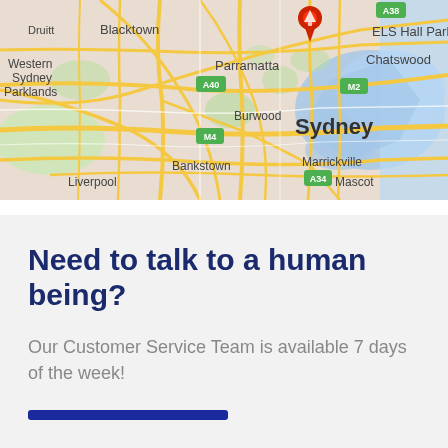[Figure (map): Google Map showing Sydney metropolitan area including landmarks: ELS Hall Park, Chatswood, Parramatta, Burwood, Bankstown, Marrickville, Mascot, Liverpool, Western Sydney Parklands, Blacktown, Druitt. Roads include A40, M2, M4, A34, A38. A red location pin is shown near the top center of the map.]
Need to talk to a human being?
Our Customer Service Team is available 7 days of the week!